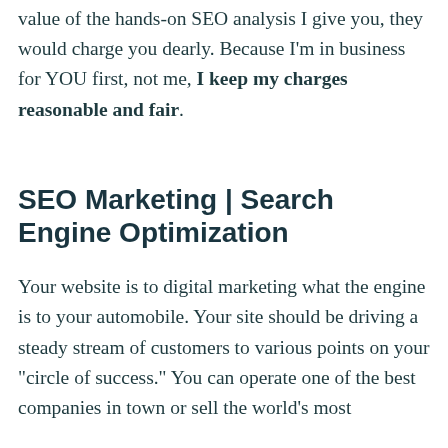value of the hands-on SEO analysis I give you, they would charge you dearly. Because I'm in business for YOU first, not me, I keep my charges reasonable and fair.
SEO Marketing | Search Engine Optimization
Your website is to digital marketing what the engine is to your automobile. Your site should be driving a steady stream of customers to various points on your "circle of success." You can operate one of the best companies in town or sell the world's most